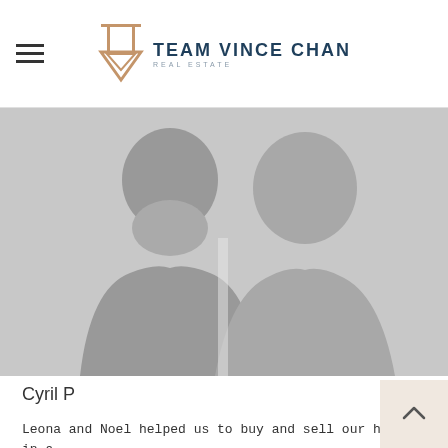Team Vince Chan Real Estate
[Figure (photo): Silhouette placeholder image of two people (man and woman) against a light grey background]
Cyril P
Leona and Noel helped us to buy and sell our home in a very difficult market and they've done a lot of extra work